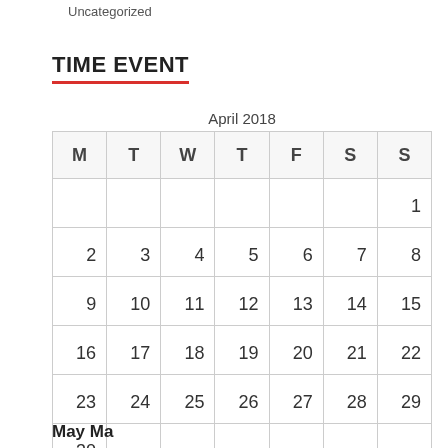Uncategorized
TIME EVENT
| M | T | W | T | F | S | S |
| --- | --- | --- | --- | --- | --- | --- |
|  |  |  |  |  |  | 1 |
| 2 | 3 | 4 | 5 | 6 | 7 | 8 |
| 9 | 10 | 11 | 12 | 13 | 14 | 15 |
| 16 | 17 | 18 | 19 | 20 | 21 | 22 |
| 23 | 24 | 25 | 26 | 27 | 28 | 29 |
| 30 |  |  |  |  |  |  |
April 2018
May May...